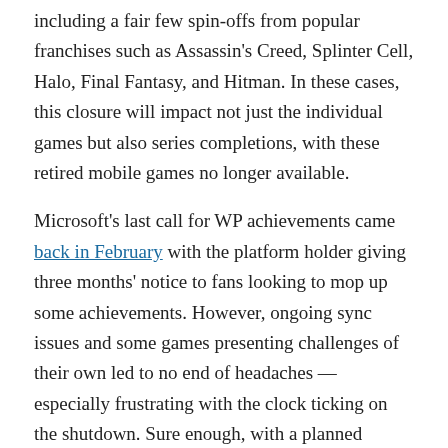including a fair few spin-offs from popular franchises such as Assassin's Creed, Splinter Cell, Halo, Final Fantasy, and Hitman. In these cases, this closure will impact not just the individual games but also series completions, with these retired mobile games no longer available.
Microsoft's last call for WP achievements came back in February with the platform holder giving three months' notice to fans looking to mop up some achievements. However, ongoing sync issues and some games presenting challenges of their own led to no end of headaches — especially frustrating with the clock ticking on the shutdown. Sure enough, with a planned closure